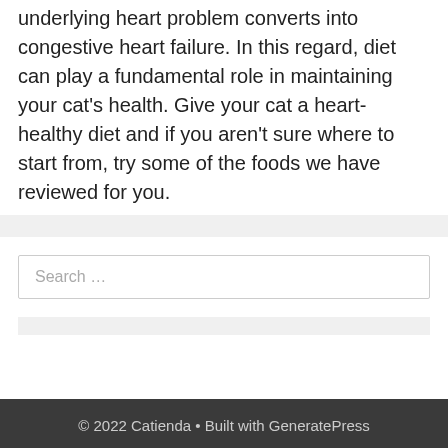underlying heart problem converts into congestive heart failure. In this regard, diet can play a fundamental role in maintaining your cat's health. Give your cat a heart-healthy diet and if you aren't sure where to start from, try some of the foods we have reviewed for you.
Search …
© 2022 Catienda • Built with GeneratePress